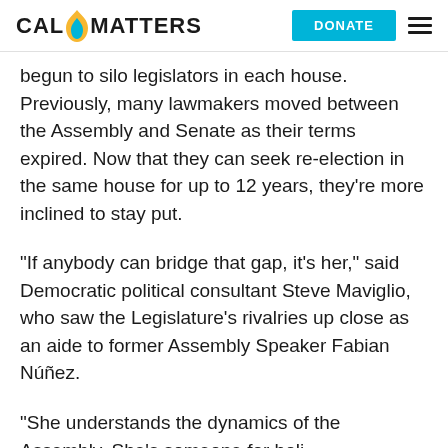CAL MATTERS | DONATE
begun to silo legislators in each house. Previously, many lawmakers moved between the Assembly and Senate as their terms expired. Now that they can seek re-election in the same house for up to 12 years, they’re more inclined to stay put.
“If anybody can bridge that gap, it’s her,” said Democratic political consultant Steve Maviglio, who saw the Legislature’s rivalries up close as an aide to former Assembly Speaker Fabian Núñez.
“She understands the dynamics of the Assembly. She’s someone for holi...